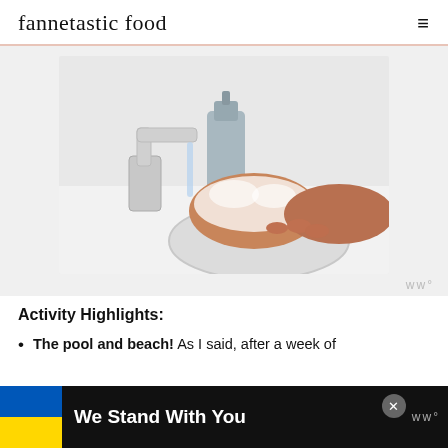fannetastic food
[Figure (photo): Person washing soapy hands under a running chrome faucet at a white bathroom sink, with a blue-grey soap dispenser in the background.]
Activity Highlights:
The pool and beach! As I said, after a week of
We Stand With You